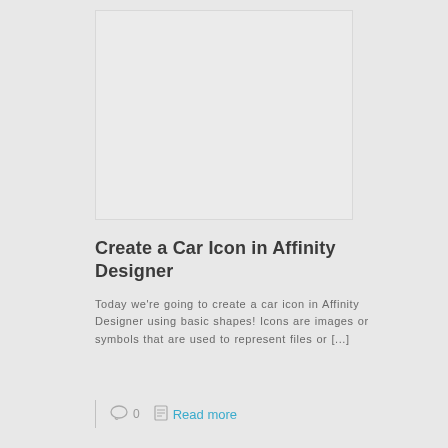[Figure (other): Blank/placeholder image area with light gray background]
Create a Car Icon in Affinity Designer
Today we're going to create a car icon in Affinity Designer using basic shapes! Icons are images or symbols that are used to represent files or [...]
0   Read more